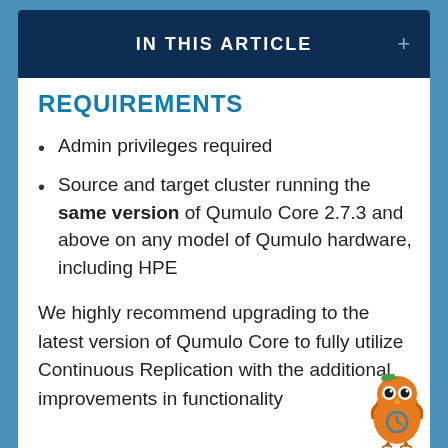IN THIS ARTICLE
REQUIREMENTS
Admin privileges required
Source and target cluster running the same version of Qumulo Core 2.7.3 and above on any model of Qumulo hardware, including HPE
We highly recommend upgrading to the latest version of Qumulo Core to fully utilize Continuous Replication with the additional improvements in functionality